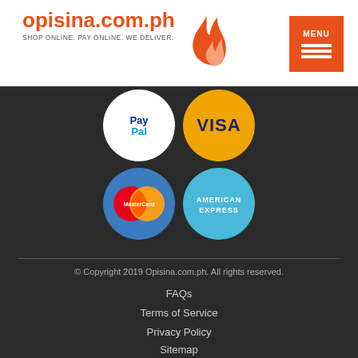opisina.com.ph — SHOP ONLINE. PAY ONLINE. WE DELIVER.
[Figure (logo): Payment method icons: PayPal, Visa, MasterCard, American Express shown as circular icons on dark background]
© Copyright 2019 Opisina.com.ph. All rights reserved.
FAQs
Terms of Service
Privacy Policy
Sitemap